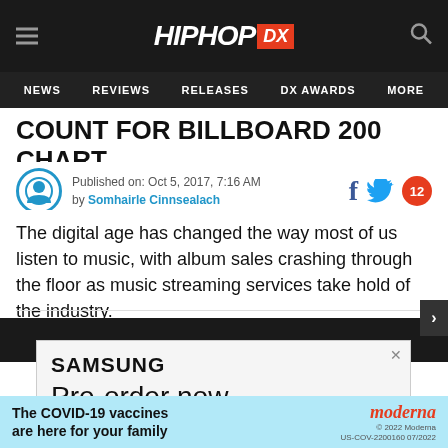HipHopDX — NEWS | REVIEWS | RELEASES | DX AWARDS | MORE
COUNT FOR BILLBOARD 200 CHART
Published on: Oct 5, 2017, 7:16 AM
by Somhairle Cinnsealach
The digital age has changed the way most of us listen to music, with album sales crashing through the floor as music streaming services take hold of the industry.
[Figure (screenshot): Samsung advertisement: Pre-order now]
[Figure (screenshot): Moderna COVID-19 vaccines advertisement: The COVID-19 vaccines are here for your family]